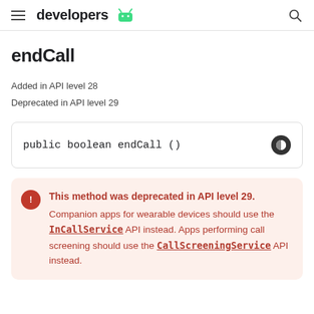developers (Android logo)
endCall
Added in API level 28
Deprecated in API level 29
This method was deprecated in API level 29. Companion apps for wearable devices should use the InCallService API instead. Apps performing call screening should use the CallScreeningService API instead.